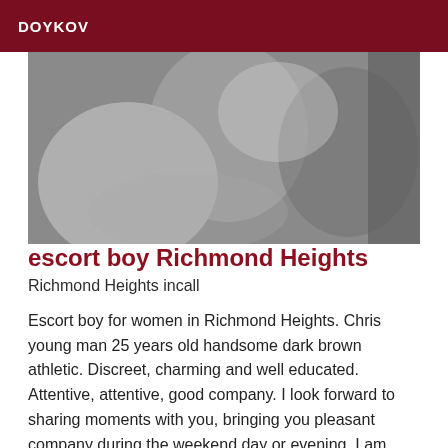DOYKOV
[Figure (photo): Grayscale close-up photo of a male torso/chest, black and white photography]
escort boy Richmond Heights
Richmond Heights incall
Escort boy for women in Richmond Heights. Chris young man 25 years old handsome dark brown athletic. Discreet, charming and well educated. Attentive, attentive, good company. I look forward to sharing moments with you, bringing you pleasant company during the weekend day or evening. I am open to all offers. Contact me directly by may specifying your situation, what you are looking for, the frequency and if